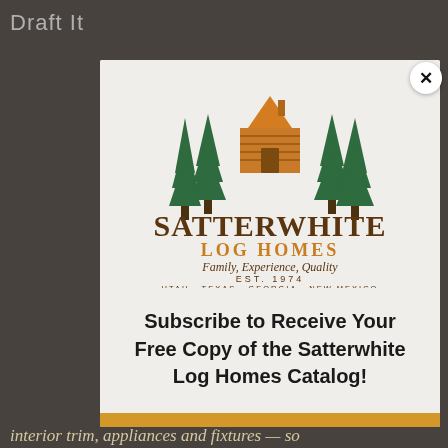Draft It
[Figure (logo): Satterwhite Log Homes logo with green pine trees and orange cabin roof, arched 'SATTERWHITE' text in brown, 'LOG HOMES' in orange, 'Family, Experience, Quality' in script, 'EST. 1974', 'UTAH·TEXAS·GEORGIA·NEW MEXICO']
Subscribe to Receive Your Free Copy of the Satterwhite Log Homes Catalog!
interior trim, appliances and fixtures — so